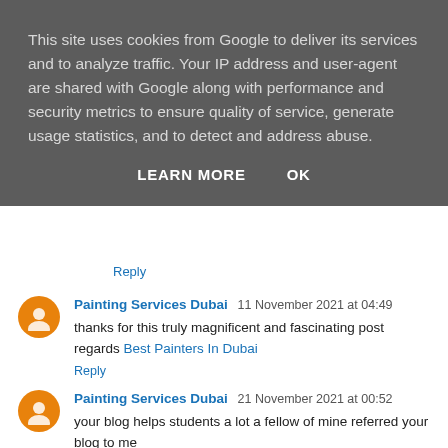This site uses cookies from Google to deliver its services and to analyze traffic. Your IP address and user-agent are shared with Google along with performance and security metrics to ensure quality of service, generate usage statistics, and to detect and address abuse.
LEARN MORE   OK
Reply
Painting Services Dubai 11 November 2021 at 04:49
thanks for this truly magnificent and fascinating post
regards Best Painters In Dubai
Reply
Painting Services Dubai 21 November 2021 at 00:52
your blog helps students a lot a fellow of mine referred your blog to me
regards Painters In Abu Dhabi